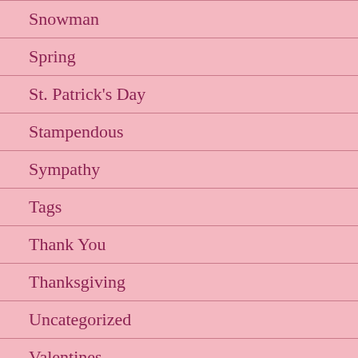Snowman
Spring
St. Patrick's Day
Stampendous
Sympathy
Tags
Thank You
Thanksgiving
Uncategorized
Valentines
Wedding Card